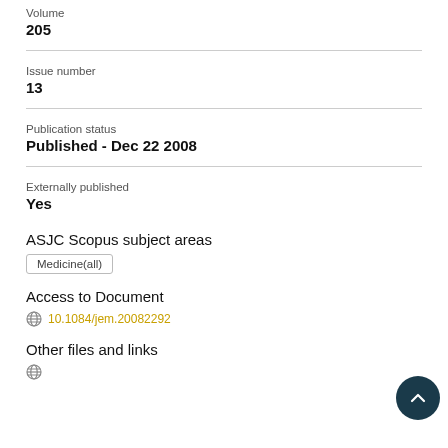Volume
205
Issue number
13
Publication status
Published - Dec 22 2008
Externally published
Yes
ASJC Scopus subject areas
Medicine(all)
Access to Document
10.1084/jem.20082292
Other files and links